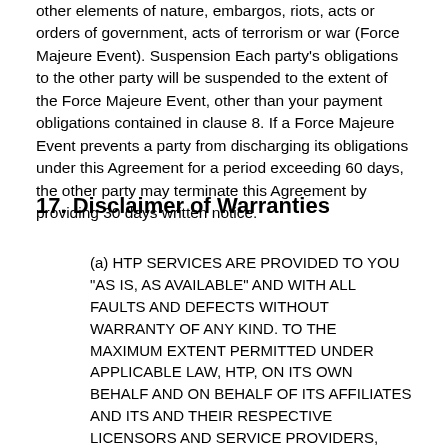other elements of nature, embargos, riots, acts or orders of government, acts of terrorism or war (Force Majeure Event). Suspension Each party's obligations to the other party will be suspended to the extent of the Force Majeure Event, other than your payment obligations contained in clause 8. If a Force Majeure Event prevents a party from discharging its obligations under this Agreement for a period exceeding 60 days, the other party may terminate this Agreement by providing 30 days written notice.
17. Disclaimer of Warranties
(a) HTP SERVICES ARE PROVIDED TO YOU "AS IS, AS AVAILABLE" AND WITH ALL FAULTS AND DEFECTS WITHOUT WARRANTY OF ANY KIND. TO THE MAXIMUM EXTENT PERMITTED UNDER APPLICABLE LAW, HTP, ON ITS OWN BEHALF AND ON BEHALF OF ITS AFFILIATES AND ITS AND THEIR RESPECTIVE LICENSORS AND SERVICE PROVIDERS, EXPRESSLY DISCLAIMS ALL WARRANTIES, WHETHER EXPRESS, IMPLIED, STATUTORY OR OTHERWISE, WITH RESPECT TO HTP SERVICES, INCLUDING ALL IMPLIED WARRANTIES OF MERCHANTABILITY, FITNESS FOR A PARTICULAR PURPOSE, TITLE AND NON-INFRINGEMENT, AND WARRANTIES THAT MAY ARISE OUT OF COURSE OF